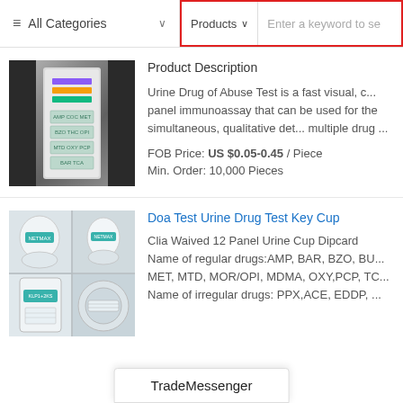≡ All Categories ∨   Products ∨   Enter a keyword to se
Product Description
[Figure (photo): Drug test strip product image on gray metallic background with colored indicator lines]
Urine Drug of Abuse Test is a fast visual, c... panel immunoassay that can be used for the simultaneous, qualitative det... multiple drug ...
FOB Price: US $0.05-0.45 / Piece
Min. Order: 10,000 Pieces
Doa Test Urine Drug Test Key Cup
[Figure (photo): Urine drug test key cup product, shown in 4-panel grid of images]
Clia Waived 12 Panel Urine Cup Dipcard Name of regular drugs:AMP, BAR, BZO, BU... MET, MTD, MOR/OPI, MDMA, OXY,PCP, TC... Name of irregular drugs: PPX,ACE, EDDP, ...
TradeMessenger